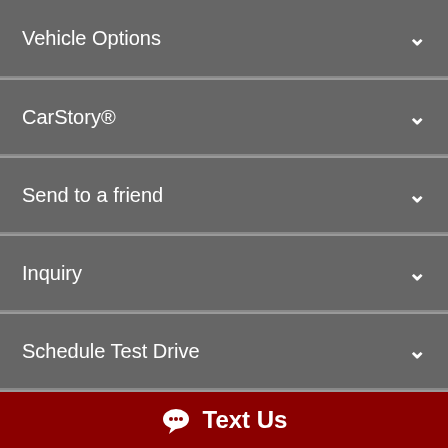Vehicle Options
CarStory®
Send to a friend
Inquiry
Schedule Test Drive
Make Offer
2010 Toyota Camry SE
213,514 miles, FWD, 4 Cyl 2.5L L4 DOHC 16V
Text Us